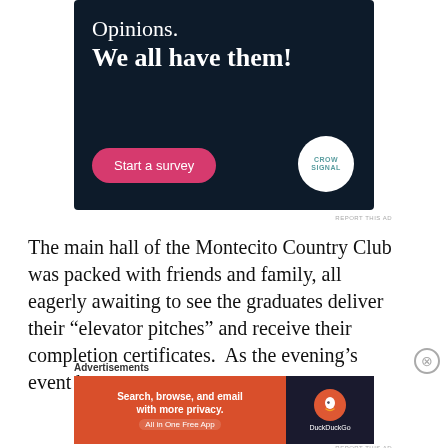[Figure (infographic): Dark navy advertisement banner for Crowdsignal with text 'Opinions. We all have them!', a pink 'Start a survey' button, and the Crowdsignal logo.]
REPORT THIS AD
The main hall of the Montecito Country Club was packed with friends and family, all eagerly awaiting to see the graduates deliver their “elevator pitches” and receive their completion certificates.  As the evening’s event began,
Advertisements
[Figure (infographic): Orange and dark advertisement banner for DuckDuckGo with text 'Search, browse, and email with more privacy. All in One Free App' and the DuckDuckGo logo.]
REPORT THIS AD